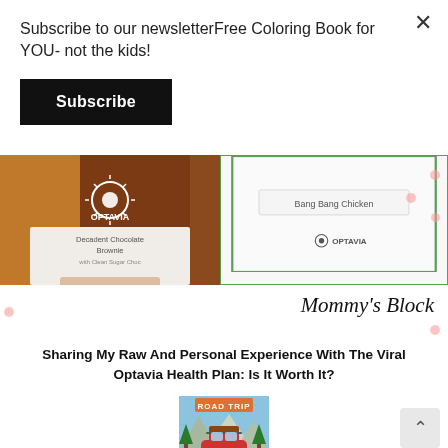Subscribe to our newsletterFree Coloring Book for YOU- not the kids!
Subscribe
[Figure (photo): Left: brown OPTAVIA Decadent Chocolate Brownie package held in hand. Right: white panel with green border showing 'Bang Bang Chicken' text and OPTAVIA logo.]
Mommy's Block
Sharing My Raw And Personal Experience With The Viral Optavia Health Plan: Is It Worth It?
[Figure (illustration): Road trip illustration showing a red car with luggage on roof, mountains and trees in background, with 'ROAD TRIP' text at top.]
Travelling & Itinerary: 7 Vital Things to Pack Before Leaving